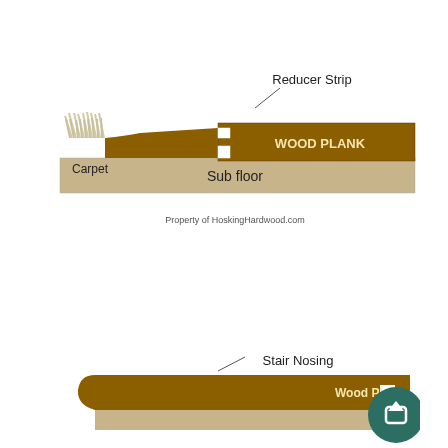[Figure (schematic): Cross-section diagram of a reducer strip transition between carpet and wood plank flooring over a sub floor, with labels: Reducer Strip, Carpet, WOOD PLANK, Sub floor. Attribution: Property of HoskingHardwood.com]
[Figure (schematic): Cross-section diagram of stair nosing transition with wood plank flooring, with labels: Stair Nosing, Wood Plank. Partially cropped at bottom.]